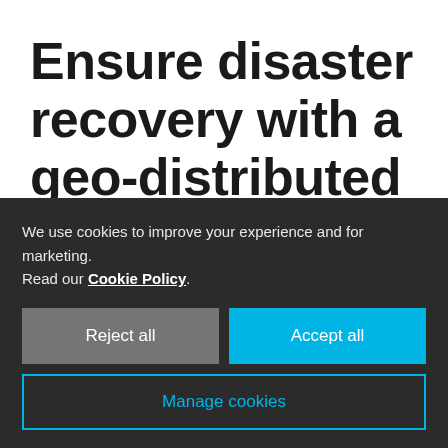Ensure disaster recovery with a geo-distributed backup
Cut downtime, boost productivity and reduce operational costs with Cubbit's immutable backup. The centralized
We use cookies to improve your experience and for marketing. Read our Cookie Policy.
Reject all
Accept all
Manage cookies